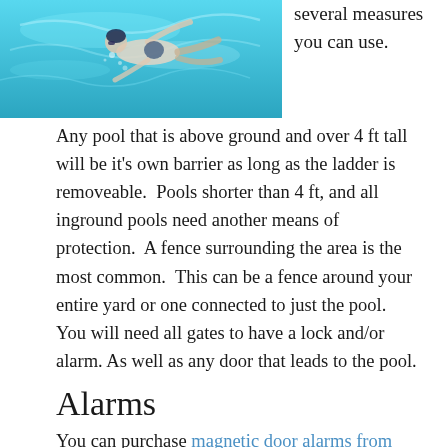[Figure (photo): Underwater photo of a person swimming in a pool with blue water]
several measures you can use.
Any pool that is above ground and over 4 ft tall will be it's own barrier as long as the ladder is removeable.  Pools shorter than 4 ft, and all inground pools need another means of protection.  A fence surrounding the area is the most common.  This can be a fence around your entire yard or one connected to just the pool. You will need all gates to have a lock and/or alarm. As well as any door that leads to the pool.
Alarms
You can purchase magnetic door alarms from amazon very affordably.  They will sound a high decible frequency once the magnetic strip is separated.  This will help you know when your kids have stepped outside, as well as when neighbors enter the pool area. You can also buy a floating